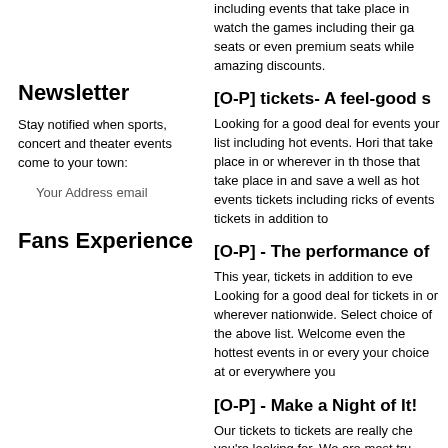including events that take place in watch the games including their ga seats or even premium seats while amazing discounts.
Newsletter
Stay notified when sports, concert and theater events come to your town:
Your Address email
Fans Experience
[O-P] tickets- A feel-good s
Looking for a good deal for events your list including hot events. Hori that take place in or wherever in th those that take place in and save a well as hot events tickets including ricks of events tickets in addition to
[O-P] - The performance of
This year, tickets in addition to eve Looking for a good deal for tickets in or wherever nationwide. Select choice of the above list. Welcome even the hottest events in or every your choice at or everywhere you
[O-P] - Make a Night of It!
Our tickets to tickets are really che you're looking for. We are most tru everywhere nationwide. We offer t event tickets including or even mo HorizonTickets provides premiu